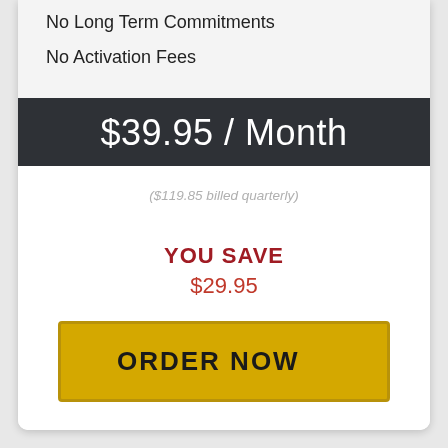No Long Term Commitments
No Activation Fees
$39.95 / Month
($119.85 billed quarterly)
YOU SAVE
$29.95
ORDER NOW